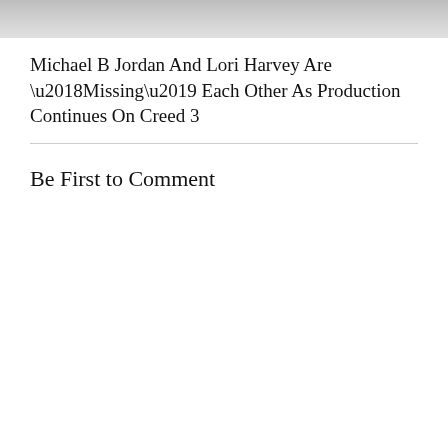[Figure (photo): Partial image banner at top of page, showing a cropped photograph (gray/muted tones)]
Michael B Jordan And Lori Harvey Are ‘Missing’ Each Other As Production Continues On Creed 3
Be First to Comment